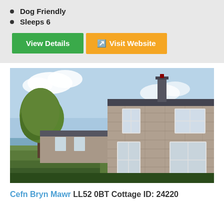Dog Friendly
Sleeps 6
View Details | Visit Website
[Figure (photo): Exterior photo of Cefn Bryn Mawr stone cottage with trees and blue sky]
Cefn Bryn Mawr LL52 0BT Cottage ID: 24220